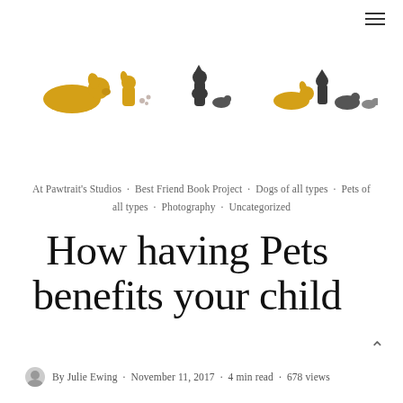[Figure (logo): Pawtrait Studios logo — silhouettes of dogs and cats in golden/amber and dark grey colors arranged in a row]
At Pawtrait's Studios · Best Friend Book Project · Dogs of all types · Pets of all types · Photography · Uncategorized
How having Pets benefits your child
By Julie Ewing · November 11, 2017 · 4 min read · 678 views